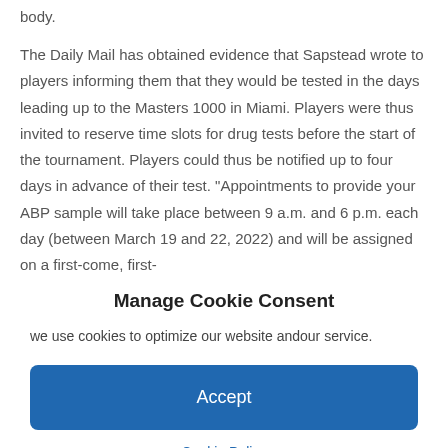body.
The Daily Mail has obtained evidence that Sapstead wrote to players informing them that they would be tested in the days leading up to the Masters 1000 in Miami. Players were thus invited to reserve time slots for drug tests before the start of the tournament. Players could thus be notified up to four days in advance of their test. "Appointments to provide your ABP sample will take place between 9 a.m. and 6 p.m. each day (between March 19 and 22, 2022) and will be assigned on a first-come, first-
Manage Cookie Consent
we use cookies to optimize our website andour service.
Accept
Cookie Policy